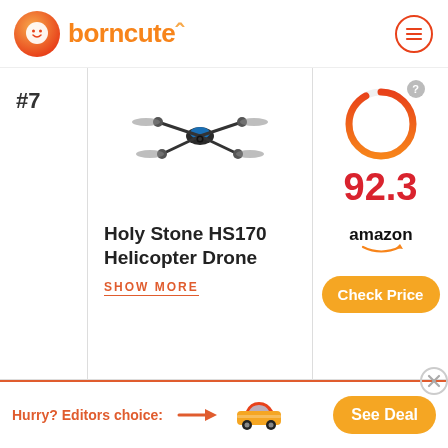borncute
#7
[Figure (photo): Holy Stone HS170 mini quadcopter drone with blue accents on its body, photographed on a white background]
Holy Stone HS170 Helicopter Drone
SHOW MORE
[Figure (infographic): Circular score ring gauge showing score 92.3 in red, with a question mark icon]
[Figure (logo): Amazon logo with smile/arrow underneath]
Check Price
Hurry? Editors choice:
[Figure (photo): Orange toy race car]
See Deal